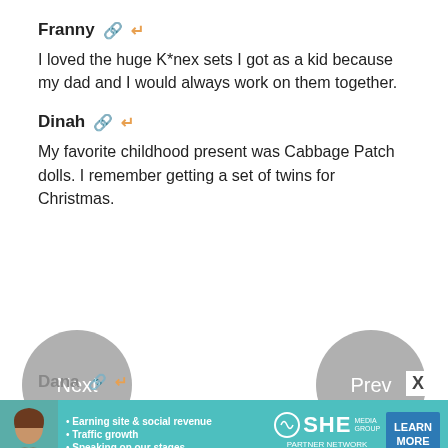Franny 🔗 ↩
I loved the huge K*nex sets I got as a kid because my dad and I would always work on them together.
Dinah 🔗 ↩
My favorite childhood present was Cabbage Patch dolls. I remember getting a set of twins for Christmas.
Dana 🔗 ↩
My favorite childhood present was my Teddy Ruxpin!
[Figure (other): Navigation buttons: Next (left circle) and Prev (right circle)]
[Figure (other): Advertisement banner for SHE Partner Network with bullets: Earning site & social revenue, Traffic growth, Speaking on our stages. Includes LEARN MORE button.]